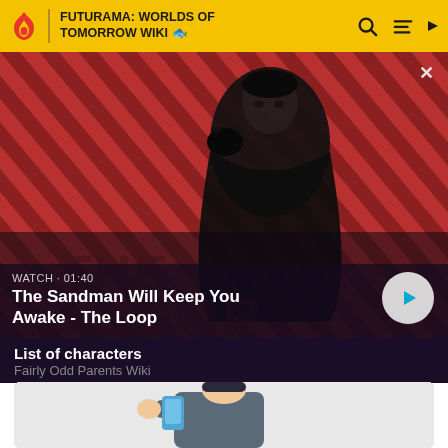FUTURAMA: WORLDS OF TOMORROW WIKI
[Figure (screenshot): Hero banner showing a dark figure (The Sandman) with a raven on shoulder against a red and black diagonal striped background. Text overlaid: WATCH • 01:40, The Sandman Will Keep You Awake - The Loop. Circular play button on right.]
List of characters
Fairly Odd Parents Wiki
[Figure (illustration): Partial view of an animated cartoon character (appears to be from Fairly Odd Parents Wiki) against a light gray background.]